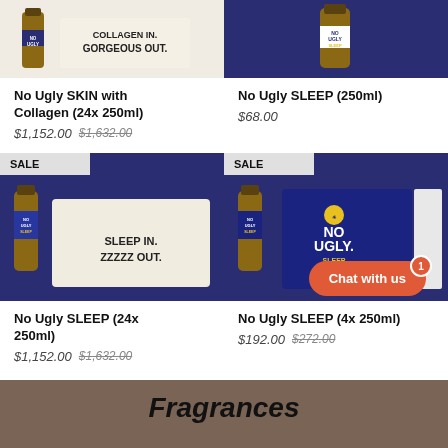[Figure (photo): No Ugly SKIN product with collagen bottle and box on beige background, text: COLLAGEN IN. GORGEOUS OUT.]
[Figure (photo): No Ugly SLEEP bottle on dark navy/purple background]
No Ugly SKIN with Collagen (24x 250ml)
$1,152.00  $1,632.00
No Ugly SLEEP (250ml)
$68.00
[Figure (photo): SALE - No Ugly SLEEP 24-pack box on navy background, text: SLEEP IN. ZZZZZ OUT.]
[Figure (photo): SALE - No Ugly SLEEP 4-pack box on navy background with NO UGLY SLEEP branding]
No Ugly SLEEP (24x 250ml)
$1,152.00  $1,632.00
No Ugly SLEEP (4x 250ml)
$192.00  $272.00
Fragrances